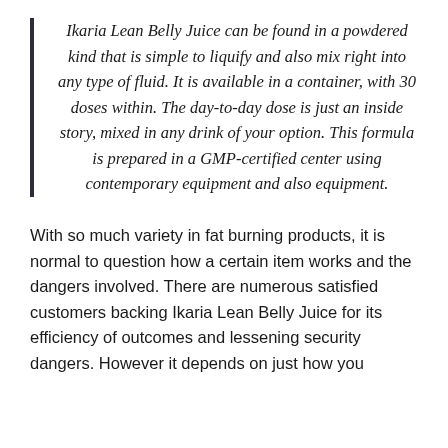Ikaria Lean Belly Juice can be found in a powdered kind that is simple to liquify and also mix right into any type of fluid. It is available in a container, with 30 doses within. The day-to-day dose is just an inside story, mixed in any drink of your option. This formula is prepared in a GMP-certified center using contemporary equipment and also equipment.
With so much variety in fat burning products, it is normal to question how a certain item works and the dangers involved. There are numerous satisfied customers backing Ikaria Lean Belly Juice for its efficiency of outcomes and lessening security dangers. However it depends on just how you